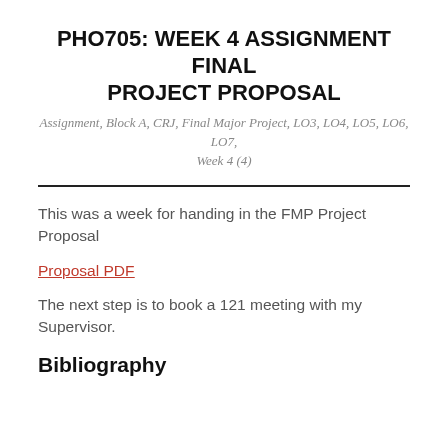PHO705: WEEK 4 ASSIGNMENT FINAL PROJECT PROPOSAL
Assignment, Block A, CRJ, Final Major Project, LO3, LO4, LO5, LO6, LO7, Week 4 (4)
This was a week for handing in the FMP Project Proposal
Proposal PDF
The next step is to book a 121 meeting with my Supervisor.
Bibliography